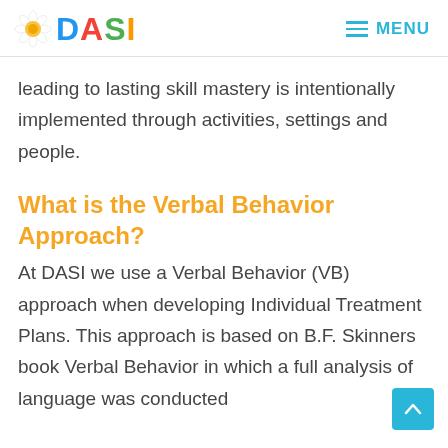DASI — MENU
leading to lasting skill mastery is intentionally implemented through activities, settings and people.
What is the Verbal Behavior Approach?
At DASI we use a Verbal Behavior (VB) approach when developing Individual Treatment Plans. This approach is based on B.F. Skinners book Verbal Behavior in which a full analysis of language was conducted